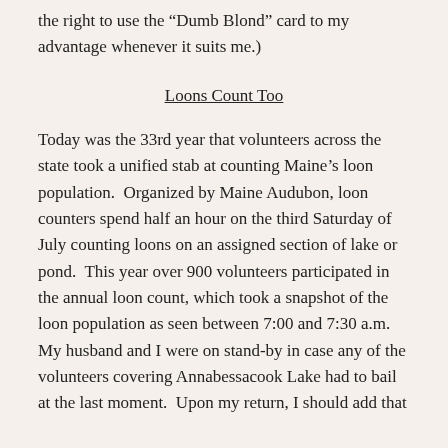the right to use the “Dumb Blond” card to my advantage whenever it suits me.)
Loons Count Too
Today was the 33rd year that volunteers across the state took a unified stab at counting Maine’s loon population.  Organized by Maine Audubon, loon counters spend half an hour on the third Saturday of July counting loons on an assigned section of lake or pond.  This year over 900 volunteers participated in the annual loon count, which took a snapshot of the loon population as seen between 7:00 and 7:30 a.m.  My husband and I were on stand-by in case any of the volunteers covering Annabessacook Lake had to bail at the last moment.  Upon my return, I should add that...